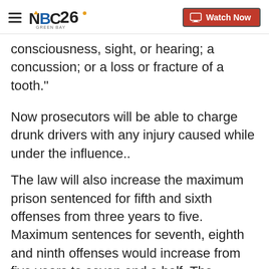NBC26 Green Bay — Watch Now
consciousness, sight, or hearing; a concussion; or a loss or fracture of a tooth."
Now prosecutors will be able to charge drunk drivers with any injury caused while under the influence..
The law will also increase the maximum prison sentenced for fifth and sixth offenses from three years to five. Maximum sentences for seventh, eighth and ninth offenses would increase from five years to seven and a half. The maximum sentence for a 10th or
subsequent offense would go from seven and a half years to a decade.